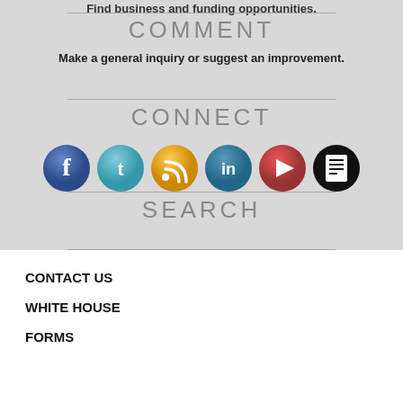Find business and funding opportunities.
COMMENT
Make a general inquiry or suggest an improvement.
CONNECT
[Figure (infographic): Row of 6 social media icon buttons: Facebook (blue), Twitter (teal), RSS (orange), LinkedIn (blue), YouTube (red), and a document/list icon (black)]
SEARCH
CONTACT US
WHITE HOUSE
FORMS